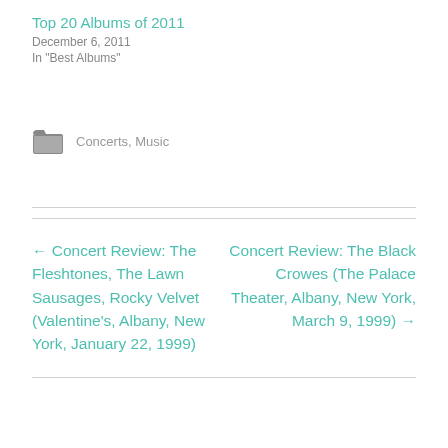Top 20 Albums of 2011
December 6, 2011
In "Best Albums"
Concerts, Music
← Concert Review: The Fleshtones, The Lawn Sausages, Rocky Velvet (Valentine's, Albany, New York, January 22, 1999)
Concert Review: The Black Crowes (The Palace Theater, Albany, New York, March 9, 1999) →